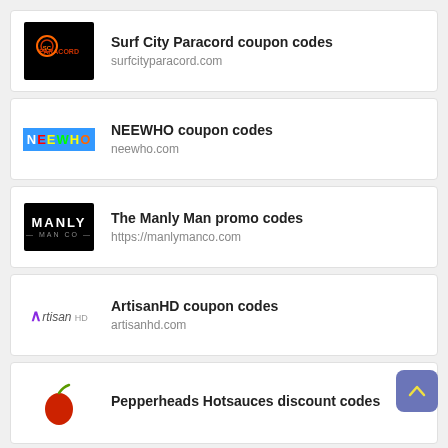Surf City Paracord coupon codes
surfcityparacord.com
NEEWHO coupon codes
neewho.com
The Manly Man promo codes
https://manlymanco.com
ArtisanHD coupon codes
artisanhd.com
Pepperheads Hotsauces discount codes